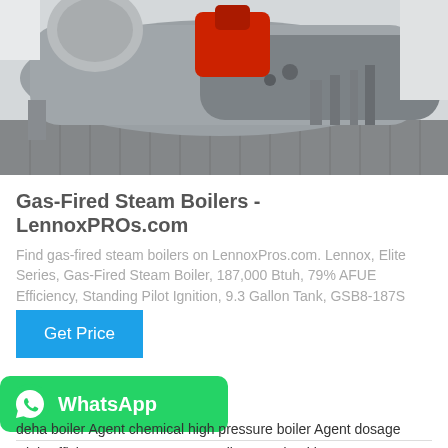[Figure (photo): Industrial gas-fired steam boilers in a factory/mechanical room setting. Two large horizontal boilers visible, one with red/orange burner components, in a white-walled room with metal grating flooring.]
Gas-Fired Steam Boilers - LennoxPROs.com
Find gas-fired steam boilers on LennoxPros.com. Lennox, Elite Series, Gas-Fired Steam Boiler, 187,000 Btuh, 79% AFUE Efficiency, Standing Pilot Ignition, 9.3 Gallon Tank, GSB8-187S
Get Price
HOT NEWS
[Figure (logo): WhatsApp button - green rounded rectangle with WhatsApp phone icon and text 'WhatsApp']
deha boiler Agent chemical high pressure boiler Agent dosage
High Efficiency Aggregate Gas Boiler Brand Tr-icist...